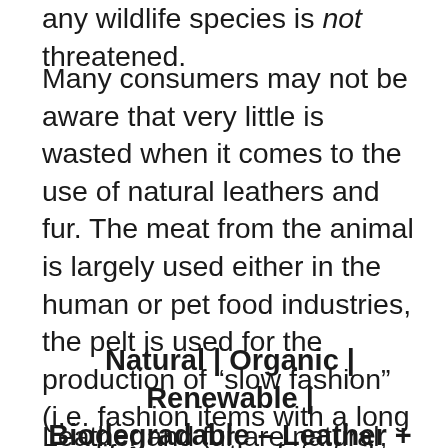any wildlife species is not threatened.
Many consumers may not be aware that very little is wasted when it comes to the use of natural leathers and fur. The meat from the animal is largely used either in the human or pet food industries, the pelt is used for the production of “slow fashion” (i.e. fashion items with a long use life-span), the fats / oils are used to produce bio-fuels and the remainder of the carcass is composted to produce organic fertilizers.
Natural | Organic | Renewable | Biodegradable – Leather + Fur
Leather and fur are natural, organic